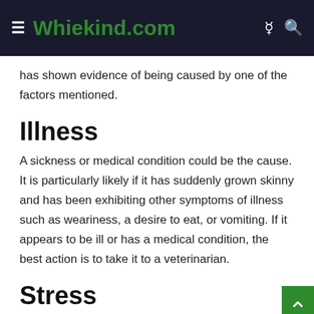Whiekind.com
has shown evidence of being caused by one of the factors mentioned.
Illness
A sickness or medical condition could be the cause. It is particularly likely if it has suddenly grown skinny and has been exhibiting other symptoms of illness such as weariness, a desire to eat, or vomiting. If it appears to be ill or has a medical condition, the best action is to take it to a veterinarian.
Stress
Something may have caused it to become agitated, causing it to lose weight. However, it is more likely if your Rottweiler has